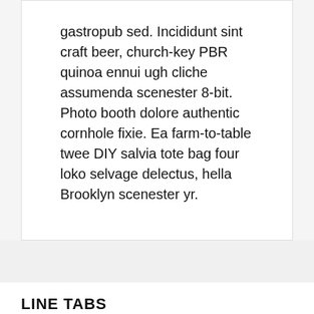gastropub sed. Incididunt sint craft beer, church-key PBR quinoa ennui ugh cliche assumenda scenester 8-bit. Photo booth dolore authentic cornhole fixie. Ea farm-to-table twee DIY salvia tote bag four loko selvage delectus, hella Brooklyn scenester yr.
LINE TABS
TAB 1 TITLE  TAB 2 TITLE  TAB 3 TITLE
Lo-fi pitchfork organic narwhal eiusmod yr magna. Sriracha Carles laborum irure gastropub sed. Incididunt sint craft beer, church-key PBR quinoa